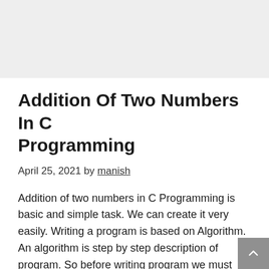[Figure (other): Grey banner/advertisement area at the top of the page]
Addition Of Two Numbers In C Programming
April 25, 2021 by manish
Addition of two numbers in C Programming is basic and simple task. We can create it very easily. Writing a program is based on Algorithm. An algorithm is step by step description of program. So before writing program we must write algorithm to develop this program. There are different ways to